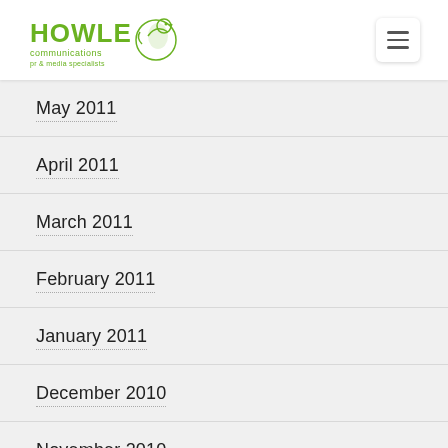[Figure (logo): Howle Communications pr & media specialists logo with green bird graphic]
May 2011
April 2011
March 2011
February 2011
January 2011
December 2010
November 2010
October 2010